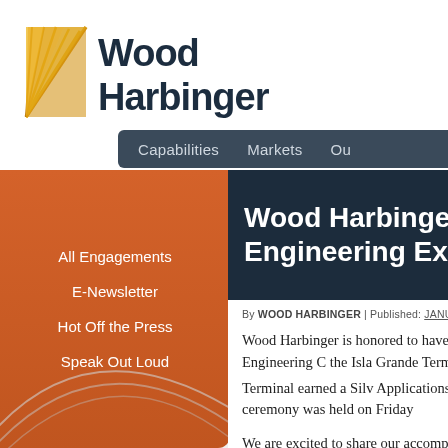[Figure (logo): Wood Harbinger logo with golden fan/leaf icon and dark blue bold text reading 'Wood Harbinger']
Capabilities  Markets  Ou
All Engagements
E-Newsletter
Hot Off the Press
Speak Out Loud
Wood Harbinger Wins Engineering Excellen
By WOOD HARBINGER | Published: JANUARY 23, 201
Wood Harbinger is honored to have received recognition from the American Council of Engineering for the Isla Grande Terminal Upgrades. Our work on the Isla Grande Terminal earned a Silver in "Special Applications." The 52nd Annual ACEC Awards ceremony was held on Friday
We are excited to share our accomplishments with our clients. We worked with Crowley M Consulting Engineers. Congratulation